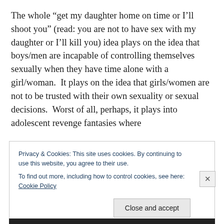The whole “get my daughter home on time or I’ll shoot you” (read: you are not to have sex with my daughter or I’ll kill you) idea plays on the idea that boys/men are incapable of controlling themselves sexually when they have time alone with a girl/woman.  It plays on the idea that girls/women are not to be trusted with their own sexuality or sexual decisions.  Worst of all, perhaps, it plays into adolescent revenge fantasies where
Privacy & Cookies: This site uses cookies. By continuing to use this website, you agree to their use.
To find out more, including how to control cookies, see here: Cookie Policy